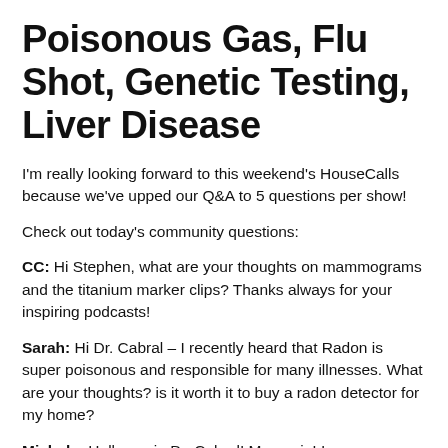Poisonous Gas, Flu Shot, Genetic Testing, Liver Disease
I'm really looking forward to this weekend's HouseCalls because we've upped our Q&A to 5 questions per show!
Check out today's community questions:
CC: Hi Stephen, what are your thoughts on mammograms and the titanium marker clips? Thanks always for your inspiring podcasts!
Sarah: Hi Dr. Cabral – I recently heard that Radon is super poisonous and responsible for many illnesses. What are your thoughts? is it worth it to buy a radon detector for my home?
Michele: Hello again Dr. Cabral! Me again! I was wondering what your opinion is on getting a flu shot. I have never